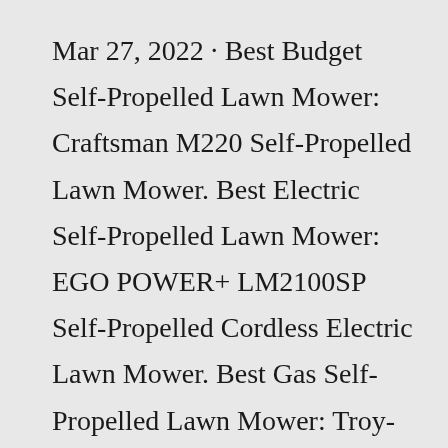Mar 27, 2022 · Best Budget Self-Propelled Lawn Mower: Craftsman M220 Self-Propelled Lawn Mower. Best Electric Self-Propelled Lawn Mower: EGO POWER+ LM2100SP Self-Propelled Cordless Electric Lawn Mower. Best Gas Self-Propelled Lawn Mower: Troy-Bilt TB200 2-in-1 Gas FWD Self Propelled Lawn Mower. Best Self-Propelled Lawn Mower for Hills: Toro Recycler 21466 ... The best lawn mower